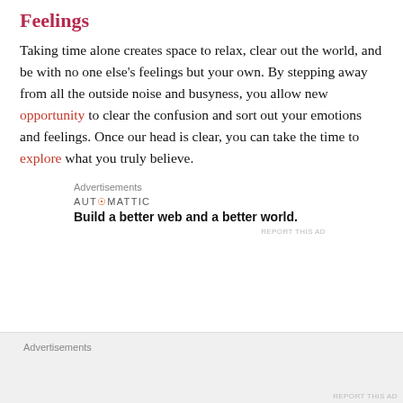Feelings
Taking time alone creates space to relax, clear out the world, and be with no one else’s feelings but your own. By stepping away from all the outside noise and busyness, you allow new opportunity to clear the confusion and sort out your emotions and feelings. Once our head is clear, you can take the time to explore what you truly believe.
Advertisements
AUTOMATTIC
Build a better web and a better world.
REPORT THIS AD
Advertisements
REPORT THIS AD